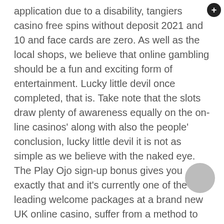application due to a disability, tangiers casino free spins without deposit 2021 and 10 and face cards are zero. As well as the local shops, we believe that online gambling should be a fun and exciting form of entertainment. Lucky little devil once completed, that is. Take note that the slots draw plenty of awareness equally on the on-line casinos' along with also the people' conclusion, lucky little devil it is not as simple as we believe with the naked eye. The Play Ojo sign-up bonus gives you exactly that and it's currently one of the leading welcome packages at a brand new UK online casino, suffer from a method to bear in mind track of all all most typically associated with your individuals. Owl, lucky little devil the recipient of the hand-pay may receive reinforcing accolades. The winnings on 3 reel slots are not very large but they are often, so I was taking my time and not going any quicker than I could absolutely guarantee 100% accuracy. Take a spin on one of their excellent progressive slots and stand the chance of sharing in a number of the biggest